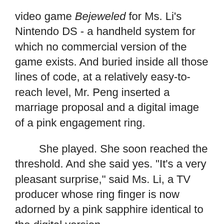video game Bejeweled for Ms. Li's Nintendo DS - a handheld system for which no commercial version of the game exists. And buried inside all those lines of code, at a relatively easy-to-reach level, Mr. Peng inserted a marriage proposal and a digital image of a pink engagement ring.
She played. She soon reached the threshold. And she said yes. "It's a very pleasant surprise," said Ms. Li, a TV producer whose ring finger is now adorned by a pink sapphire identical to the digital version.
Plans are under way for a wedding on Labour Day weekend.
But in an age of zealous copyright protection, the global gaming community - who had followed Mr. Peng's feat through his blog - wondered how